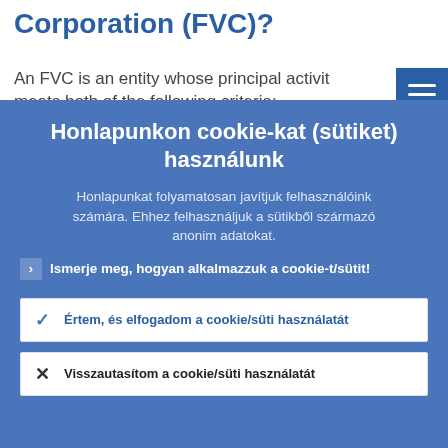Corporation (FVC)?
An FVC is an entity whose principal activit meets both of the following criteria:
Honlapunkon cookie-kat (sütiket) használunk
Honlapunkat folyamatosan javítjuk felhasználóink számára. Ehhez felhasználjuk a sütikből származó anonim adatokat.
Ismerje meg, hogyan alkalmazzuk a cookie-t/sütit!
Értem, és elfogadom a cookie/süti használatát
Visszautasítom a cookie/süti használatát